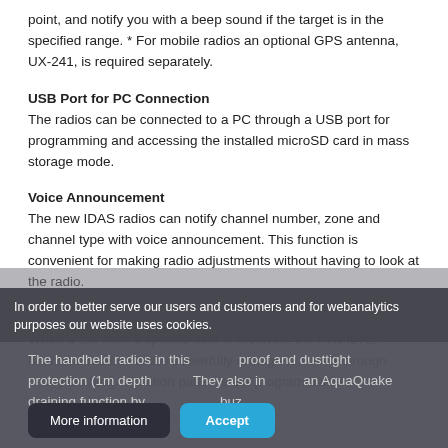point, and notify you with a beep sound if the target is in the specified range. * For mobile radios an optional GPS antenna, UX-241, is required separately.
USB Port for PC Connection
The radios can be connected to a PC through a USB port for programming and accessing the installed microSD card in mass storage mode.
Voice Announcement
The new IDAS radios can notify channel number, zone and channel type with voice announcement. This function is convenient for making radio adjustments without having to look at the radio.
Vibration Alert
When a call from a specific user is received, the new IDAS handheld radios vibrate powerfully enough to be felt through heavy clothing. Vibration patterns are programmable.
In order to better serve our users and customers and for webanalytics purposes our website uses cookies.
The handheld radios in this ... waterproof and dusttight protection (1m depth for 1 hour). They also incorporate an AquaQuake draining function by ... buz...